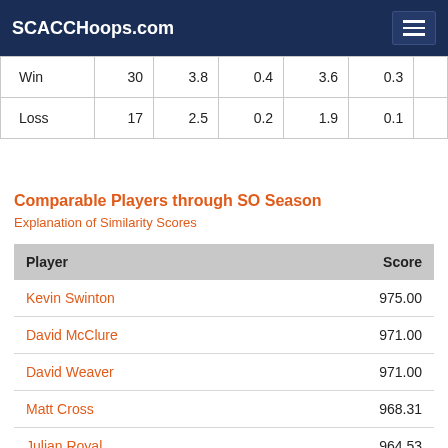SCACCHoops.com
|  |  |  |  |  |  |
| --- | --- | --- | --- | --- | --- |
| Win | 30 | 3.8 | 0.4 | 3.6 | 0.3 |
| Loss | 17 | 2.5 | 0.2 | 1.9 | 0.1 |
Comparable Players through SO Season
Explanation of Similarity Scores
| Player | Score |
| --- | --- |
| Kevin Swinton | 975.00 |
| David McClure | 971.00 |
| David Weaver | 971.00 |
| Matt Cross | 968.31 |
| Julian Royal | 964.53 |
| Akin Akingbala | 963.00 |
| Cheick Diakite | 963.00 |